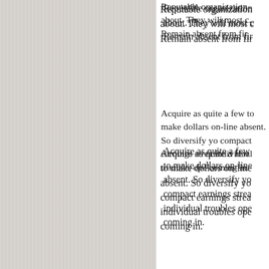Reputable organization about. They wili most c. Remain absent from fir
Acquire as quite a few to make dollars on-line absent. So diversify yo compact earnings strea individual troubles ope coming in.
Endeavor using your cr give on the world wide funds. Recipes can be a
Think about about publ resources. Lately, self-p